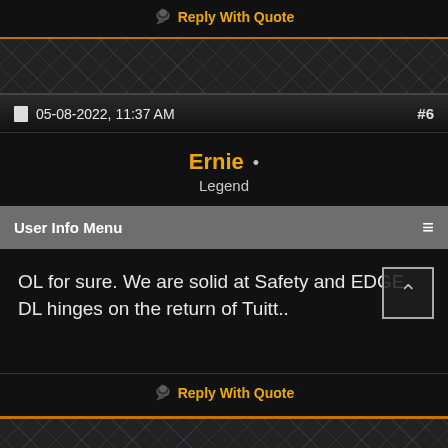Reply With Quote
05-08-2022, 11:37 AM  #6
Ernie •
Legend
User Info Menu
OL for sure. We are solid at Safety and EDGE DL hinges on the return of Tuitt..
Reply With Quote
05-08-2022, 11:47 AM  #7
faltdizz